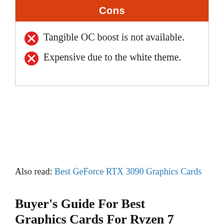Cons
Tangible OC boost is not available.
Expensive due to the white theme.
Also read: Best GeForce RTX 3090 Graphics Cards
Buyer's Guide For Best Graphics Cards For Ryzen 7